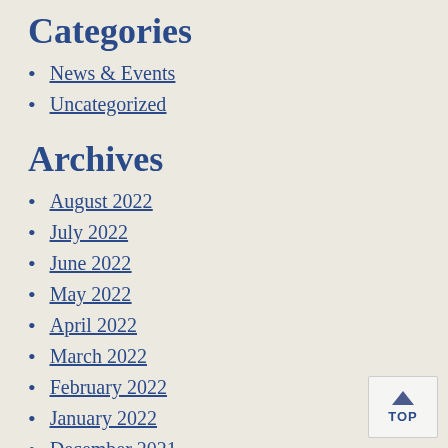Categories
News & Events
Uncategorized
Archives
August 2022
July 2022
June 2022
May 2022
April 2022
March 2022
February 2022
January 2022
December 2021
November 2021